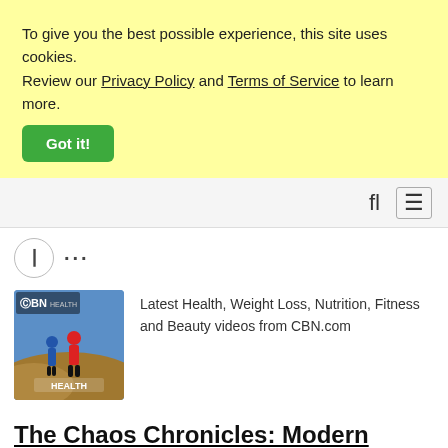To give you the best possible experience, this site uses cookies. Review our Privacy Policy and Terms of Service to learn more.
Got it!
...
[Figure (photo): CBN Health podcast thumbnail showing two people jogging outdoors on a hillside with CBN logo overlay]
Latest Health, Weight Loss, Nutrition, Fitness and Beauty videos from CBN.com
The Chaos Chronicles: Modern Motherhood with a Laugh
7+ Y AGO